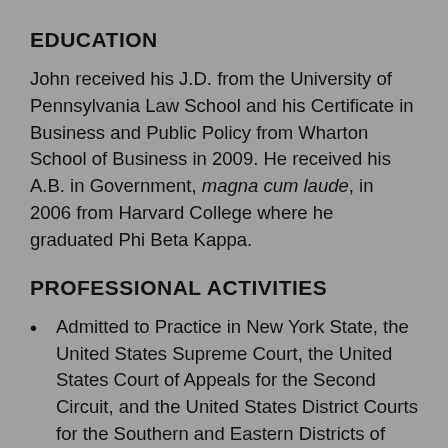EDUCATION
John received his J.D. from the University of Pennsylvania Law School and his Certificate in Business and Public Policy from Wharton School of Business in 2009. He received his A.B. in Government, magna cum laude, in 2006 from Harvard College where he graduated Phi Beta Kappa.
PROFESSIONAL ACTIVITIES
Admitted to Practice in New York State, the United States Supreme Court, the United States Court of Appeals for the Second Circuit, and the United States District Courts for the Southern and Eastern Districts of New York